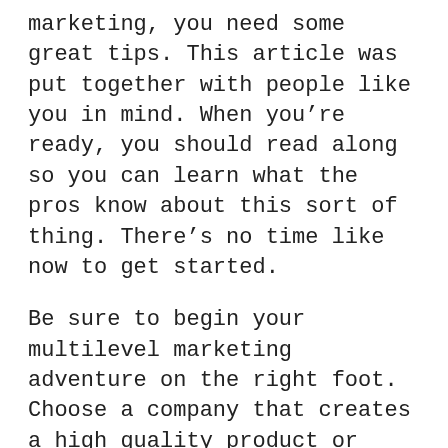marketing, you need some great tips. This article was put together with people like you in mind. When you're ready, you should read along so you can learn what the pros know about this sort of thing. There's no time like now to get started.
Be sure to begin your multilevel marketing adventure on the right foot. Choose a company that creates a high quality product or offers a valuable service at a fair price. You will have a lot more success if you represent an honest and worthwhile product or service. You will also feel better about yourself than you would offering a product or service that does not provide real value.
Use a vision board for your multi-level